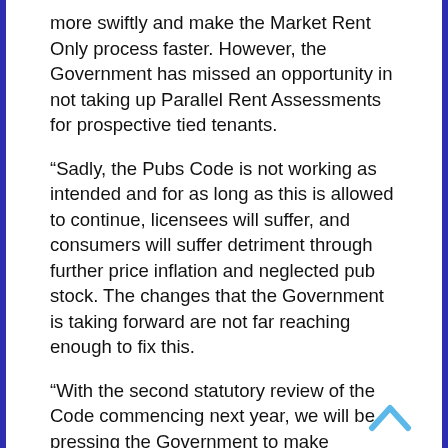more swiftly and make the Market Rent Only process faster. However, the Government has missed an opportunity in not taking up Parallel Rent Assessments for prospective tied tenants.
“Sadly, the Pubs Code is not working as intended and for as long as this is allowed to continue, licensees will suffer, and consumers will suffer detriment through further price inflation and neglected pub stock. The changes that the Government is taking forward are not far reaching enough to fix this.
“With the second statutory review of the Code commencing next year, we will be pressing the Government to make fundamental reforms that will actually balance the relationship between tenants and their pub companies, as the legislation was intended to do.”